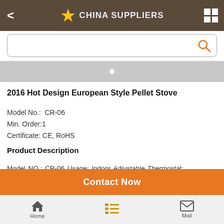CHINA SUPPLIERS
[Figure (screenshot): Search bar with orange search icon]
[Figure (screenshot): Image slider with white dot indicator on gray background]
2016 Hot Design European Style Pellet Stove
Model No.:  CR-06
Min. Order:1
Certificate: CE, RoHS
Product Description
Model NO.: CR-06 Usage: Indoor Adjustable Thermostat: Adjustable Thermostat Style: Modern Fuels: Biomass Pellet, Wood Pellet Package Size:
[Figure (screenshot): Orange Contact Now button]
Home   Mail